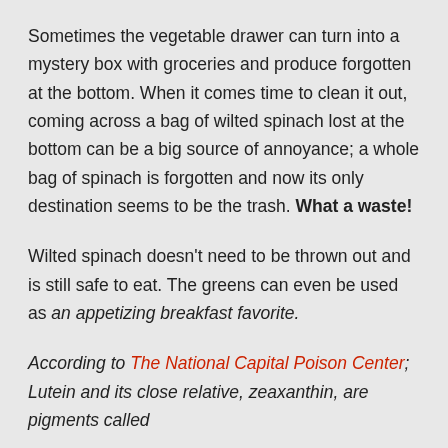Sometimes the vegetable drawer can turn into a mystery box with groceries and produce forgotten at the bottom. When it comes time to clean it out, coming across a bag of wilted spinach lost at the bottom can be a big source of annoyance; a whole bag of spinach is forgotten and now its only destination seems to be the trash. What a waste!
Wilted spinach doesn't need to be thrown out and is still safe to eat. The greens can even be used as an appetizing breakfast favorite.
According to The National Capital Poison Center; Lutein and its close relative, zeaxanthin, are pigments called